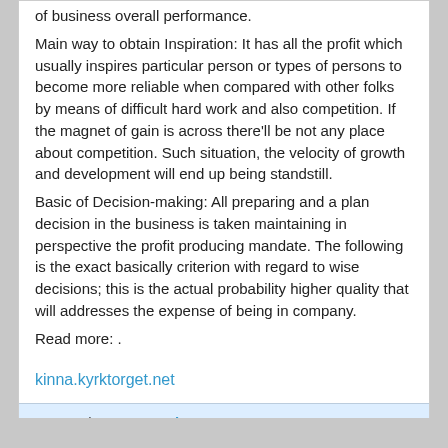of business overall performance.
Main way to obtain Inspiration: It has all the profit which usually inspires particular person or types of persons to become more reliable when compared with other folks by means of difficult hard work and also competition. If the magnet of gain is across there'll be not any place about competition. Such situation, the velocity of growth and development will end up being standstill.
Basic of Decision-making: All preparing and a plan decision in the business is taken maintaining in perspective the profit producing mandate. The following is the exact basically criterion with regard to wise decisions; this is the actual probability higher quality that will addresses the expense of being in company.
Read more: .
kinna.kyrktorget.net
Categories: Featured
[Figure (other): Social sharing action bar with back arrow, email, Twitter, Facebook, bookmark, and forward arrow icons]